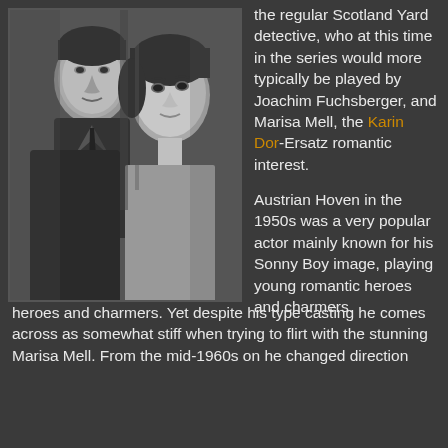[Figure (photo): Black and white photograph of two people — a man in a dark suit and tie looking seriously at the camera, and a woman with dark hair looking to the side, in what appears to be a scene from a film or TV show.]
the regular Scotland Yard detective, who at this time in the series would more typically be played by Joachim Fuchsberger, and Marisa Mell, the Karin Dor-Ersatz romantic interest.
Austrian Hoven in the 1950s was a very popular actor mainly known for his Sonny Boy image, playing young romantic heroes and charmers. Yet despite his type casting he comes across as somewhat stiff when trying to flirt with the stunning Marisa Mell. From the mid-1960s on he changed direction